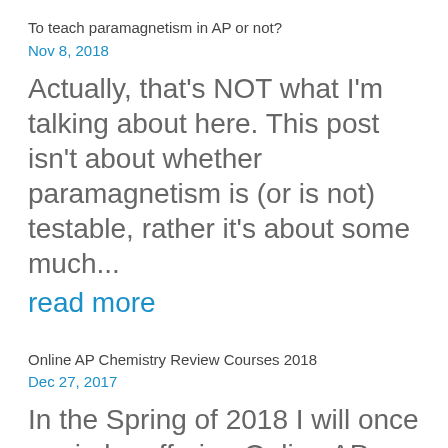To teach paramagnetism in AP or not?
Nov 8, 2018
Actually, that's NOT what I'm talking about here. This post isn't about whether paramagnetism is (or is not) testable, rather it's about some much...
read more
Online AP Chemistry Review Courses 2018
Dec 27, 2017
In the Spring of 2018 I will once again be offering Online AP Chemistry Review Courses for AP